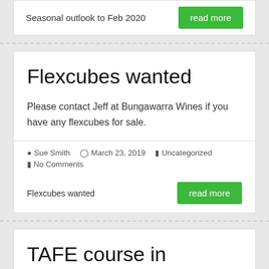Seasonal outlook to Feb 2020
read more
Flexcubes wanted
Please contact Jeff at Bungawarra Wines if you have any flexcubes for sale.
Sue Smith  March 23, 2019  Uncategorized  No Comments
Flexcubes wanted
read more
TAFE course in Warwick